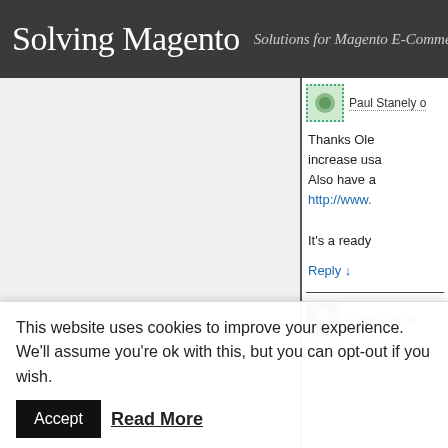Solving Magento — Solutions for Magento E-Commerce
Paul Stanely on [date]
Thanks Ole increase usa Also have a http://www. It's a ready
Reply ↓
vrunda on Oc
This website uses cookies to improve your experience. We'll assume you're ok with this, but you can opt-out if you wish. Accept Read More